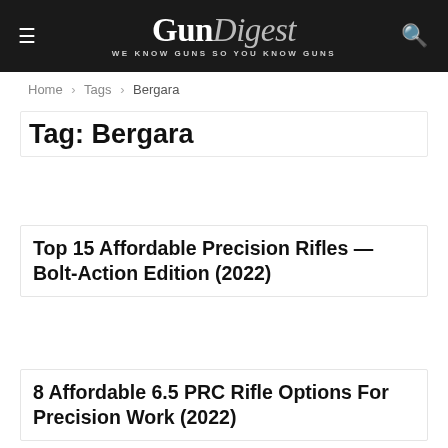GunDigest — WE KNOW GUNS SO YOU KNOW GUNS
Home › Tags › Bergara
Tag: Bergara
Top 15 Affordable Precision Rifles — Bolt-Action Edition (2022)
8 Affordable 6.5 PRC Rifle Options For Precision Work (2022)